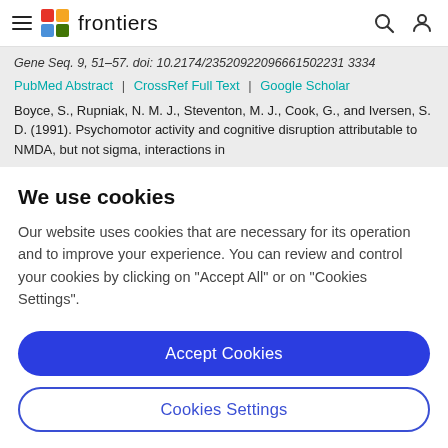frontiers
Gene Seq. 9, 51–57. doi: 10.2174/23520922096661502231 3334
PubMed Abstract | CrossRef Full Text | Google Scholar
Boyce, S., Rupniak, N. M. J., Steventon, M. J., Cook, G., and Iversen, S. D. (1991). Psychomotor activity and cognitive disruption attributable to NMDA, but not sigma, interactions in
We use cookies
Our website uses cookies that are necessary for its operation and to improve your experience. You can review and control your cookies by clicking on "Accept All" or on "Cookies Settings".
Accept Cookies
Cookies Settings